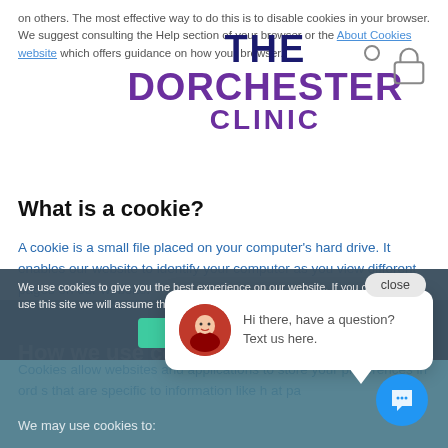on others. The most effective way to do this is to disable cookies in your browser. We suggest consulting the Help section of your browser or the About Cookies website which offers guidance on how your browser.
[Figure (logo): The Dorchester Clinic logo with stylized text in navy and purple]
What is a cookie?
A cookie is a small file placed on your computer's hard drive. It enables our website to identify your computer as you view different pages on our website.
Cookies allow websites and applications to store your preferences in ord... s that are specific to... information like h... at pa...
We use cookies to give you the best experience on our website. If you continue to use this site we will assume that you are happy with it.
How we use cookies
We may use cookies to:
[Figure (screenshot): Chat popup with avatar photo and text: Hi there, have a question? Text us here.]
close
Hi there, have a question? Text us here.
Ok